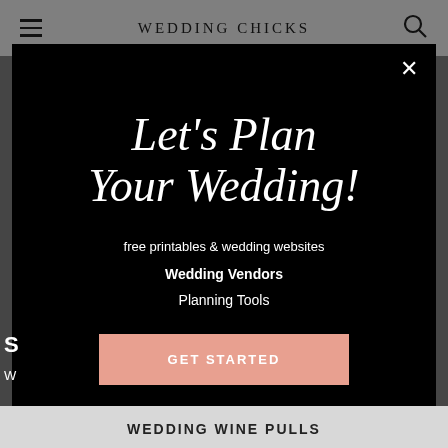WEDDING CHICKS
Let's Plan Your Wedding!
free printables & wedding websites
Wedding Vendors
Planning Tools
GET STARTED
WEDDING WINE PULLS